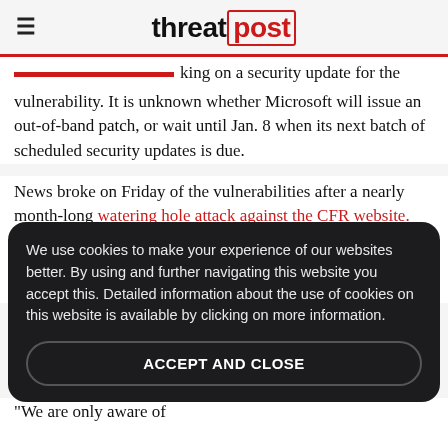threatpost
king on a security update for the vulnerability. It is unknown whether Microsoft will issue an out-of-band patch, or wait until Jan. 8 when its next batch of scheduled security updates is due.
News broke on Friday of the vulnerabilities after a nearly month-long watering hole attack against the CFR website. The foreign-policy resource site includes many notable public figures among its members and directors. Researchers dubbed it a watering hole attack, where a w...
We use cookies to make your experience of our websites better. By using and further navigating this website you accept this. Detailed information about the use of cookies on this website is available by clicking on more information.
ACCEPT AND CLOSE
"We are only aware of